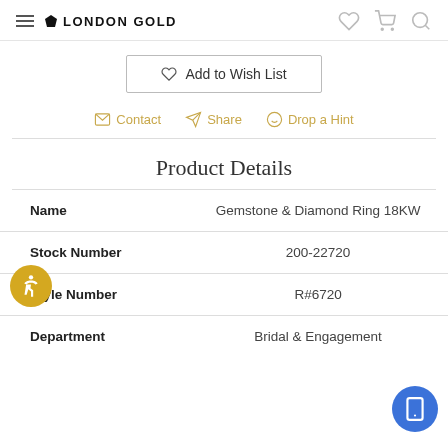London Gold
Add to Wish List
Contact  Share  Drop a Hint
Product Details
| Field | Value |
| --- | --- |
| Name | Gemstone & Diamond Ring 18KW |
| Stock Number | 200-22720 |
| Style Number | R#6720 |
| Department | Bridal & Engagement |